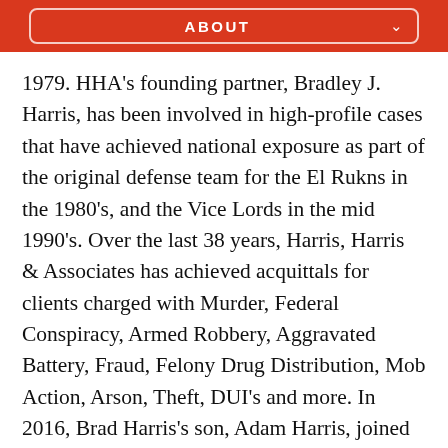ABOUT
1979. HHA's founding partner, Bradley J. Harris, has been involved in high-profile cases that have achieved national exposure as part of the original defense team for the El Rukns in the 1980's, and the Vice Lords in the mid 1990's. Over the last 38 years, Harris, Harris & Associates has achieved acquittals for clients charged with Murder, Federal Conspiracy, Armed Robbery, Aggravated Battery, Fraud, Felony Drug Distribution, Mob Action, Arson, Theft, DUI's and more. In 2016, Brad Harris's son, Adam Harris, joined the practice as an attorney. Together, this father and son team bring a strategic, aggressive approach towards dealing with their clients' criminal matters.